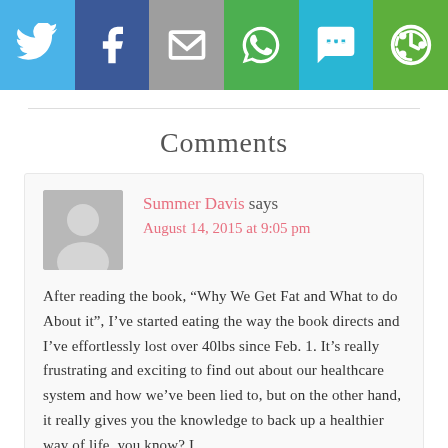[Figure (infographic): Social share buttons bar: Twitter (blue), Facebook (dark blue), Email (gray), WhatsApp (green), SMS (cyan), Other share (green)]
Comments
Summer Davis says
August 14, 2015 at 9:05 pm
After reading the book, “Why We Get Fat and What to do About it”, I’ve started eating the way the book directs and I’ve effortlessly lost over 40lbs since Feb. 1. It’s really frustrating and exciting to find out about our healthcare system and how we’ve been lied to, but on the other hand, it really gives you the knowledge to back up a healthier way of life, you know? I